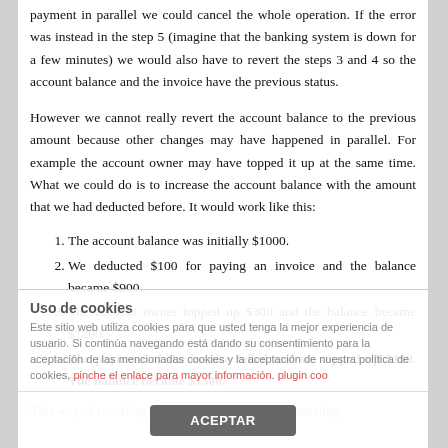payment in parallel we could cancel the whole operation. If the error was instead in the step 5 (imagine that the banking system is down for a few minutes) we would also have to revert the steps 3 and 4 so the account balance and the invoice have the previous status.
However we cannot really revert the account balance to the previous amount because other changes may have happened in parallel. For example the account owner may have topped it up at the same time. What we could do is to increase the account balance with the amount that we had deducted before. It would work like this:
The account balance was initially $1000.
We deducted $100 for paying an invoice and the balance became $900.
The account owner topped up $300 and the balance became $1200.
The payment of the invoice failed and we topped up $100. The balance became $1300.
This way of reverting the changes is called compensating